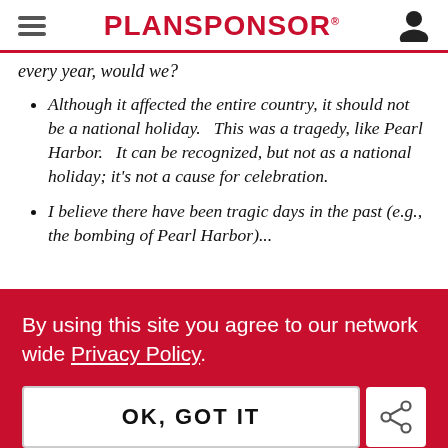PLANSPONSOR
every year, would we?
Although it affected the entire country, it should not be a national holiday.   This was a tragedy, like Pearl Harbor.   It can be recognized, but not as a national holiday; it's not a cause for celebration.
I believe there have been tragic days in the past (e.g., the bombing of Pearl Harbor)...
By using this site you agree to our network wide Privacy Policy.
OK, GOT IT